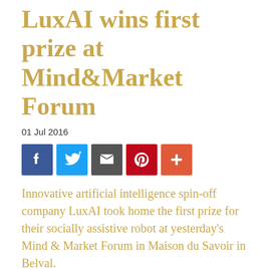LuxAI wins first prize at Mind&Market Forum
01 Jul 2016
[Figure (other): Social media sharing icons: Facebook, Twitter, Email, Pinterest, More (+)]
Innovative artificial intelligence spin-off company LuxAI took home the first prize for their socially assistive robot at yesterday's Mind & Market Forum in Maison du Savoir in Belval.
LuxAI is a spin-off from the SnT at the University of Luxembourg, which is specialized in socially assistive robotics. The team, led by Dr Pouyan Ziafati and Dr Aida Nazarikhorram, developed the prototype of the robot with